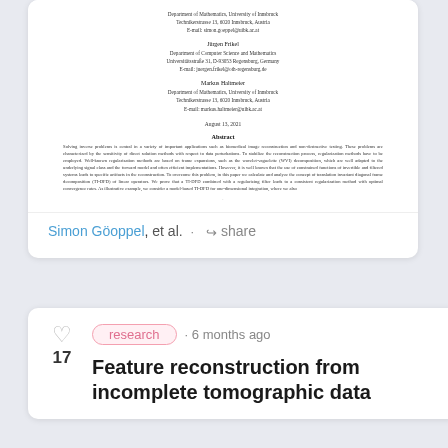[Figure (screenshot): Preview of a scientific paper showing author affiliations and abstract about feature reconstruction from incomplete tomographic data]
Simon Göoppel, et al. · share
research · 6 months ago
Feature reconstruction from incomplete tomographic data